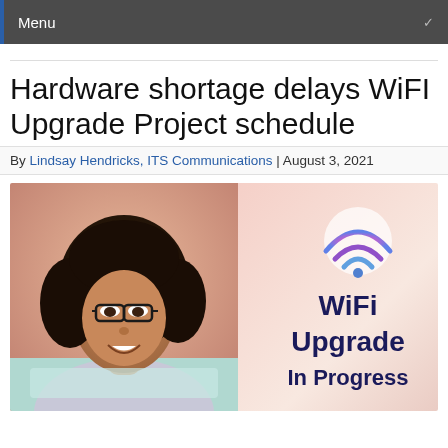Menu
Hardware shortage delays WiFI Upgrade Project schedule
By Lindsay Hendricks, ITS Communications | August 3, 2021
[Figure (photo): Left half: photo of a young woman with glasses and curly hair smiling at a laptop. Right half: promotional graphic with a colorful WiFi icon and text 'WiFi Upgrade In Progress' on a light pink/peach gradient background.]